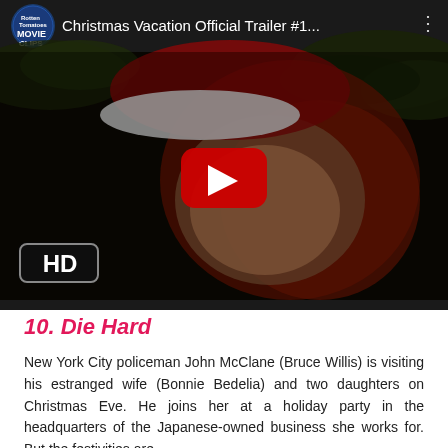[Figure (screenshot): YouTube video thumbnail for 'Christmas Vacation Official Trailer #1...' showing a man in a Santa hat with an angry/surprised expression surrounded by Christmas tree branches. An HD badge is visible in the lower left. A play button overlay is in the center. The Rotten Tomatoes Movie Clips logo appears in the top-left of the video bar.]
10. Die Hard
New York City policeman John McClane (Bruce Willis) is visiting his estranged wife (Bonnie Bedelia) and two daughters on Christmas Eve. He joins her at a holiday party in the headquarters of the Japanese-owned business she works for. But the festivities are